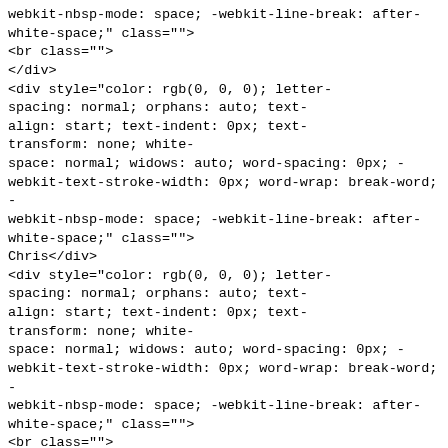webkit-nbsp-mode: space; -webkit-line-break: after-white-space;" class="">
<br class="">
</div>
<div style="color: rgb(0, 0, 0); letter-spacing: normal; orphans: auto; text-align: start; text-indent: 0px; text-transform: none; white-space: normal; widows: auto; word-spacing: 0px; -webkit-text-stroke-width: 0px; word-wrap: break-word; -webkit-nbsp-mode: space; -webkit-line-break: after-white-space;" class="">
Chris</div>
<div style="color: rgb(0, 0, 0); letter-spacing: normal; orphans: auto; text-align: start; text-indent: 0px; text-transform: none; white-space: normal; widows: auto; word-spacing: 0px; -webkit-text-stroke-width: 0px; word-wrap: break-word; -webkit-nbsp-mode: space; -webkit-line-break: after-white-space;" class="">
<br class="">
</div>
<div style="color: rgb(0, 0, 0); letter-spacing: normal; orphans: auto; text-align: start; text-indent: 0px; text-transform: none; white-space: normal; widows: auto; word-spacing: 0px; -webkit-text-stroke-width: 0px; word-wrap: break-word; -webkit-nbsp-mode: space; -webkit-line-break: after-white-space;" class="">